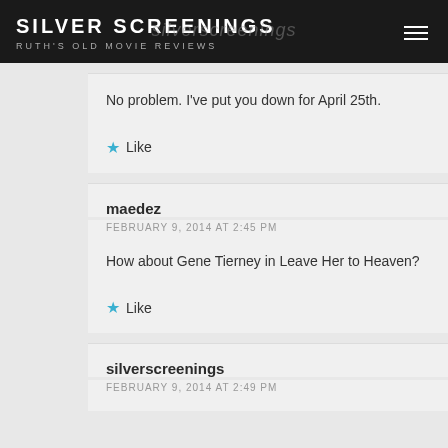SILVER SCREENINGS
RUTH'S OLD MOVIE REVIEWS
No problem. I've put you down for April 25th.
★ Like
maedez
FEBRUARY 9, 2014 AT 2:45 PM
How about Gene Tierney in Leave Her to Heaven?
★ Like
silverscreenings
FEBRUARY 9, 2014 AT 2:49 PM